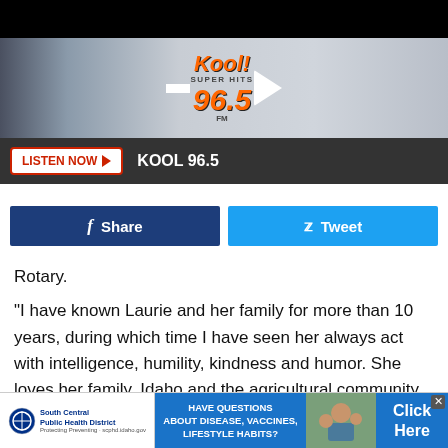[Figure (screenshot): KOOL Super Hits 96.5 radio station website header with hamburger menu, logo, and play button]
LISTEN NOW ▶  KOOL 96.5
Share   Tweet
Rotary.
"I have known Laurie and her family for more than 10 years, during which time I have seen her always act with intelligence, humility, kindness and humor.  She loves her family, Idaho and the agricultural community and way of life," said Penelope Parker, owner of Parker Law Offices.  "I cannot even begin to tell you how important it is for us to elect her
[Figure (infographic): Advertisement banner: South Central Public Health District - Have Questions About Disease, Vaccines, Lifestyle Habits? Click Here]